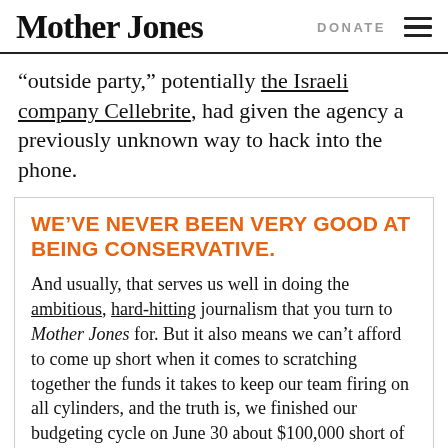Mother Jones   DONATE
“outside party,” potentially the Israeli company Cellebrite, had given the agency a previously unknown way to hack into the phone.
WE’VE NEVER BEEN VERY GOOD AT BEING CONSERVATIVE.
And usually, that serves us well in doing the ambitious, hard-hitting journalism that you turn to Mother Jones for. But it also means we can’t afford to come up short when it comes to scratching together the funds it takes to keep our team firing on all cylinders, and the truth is, we finished our budgeting cycle on June 30 about $100,000 short of our online goal.
This is not a time to come up short. It’s a time…